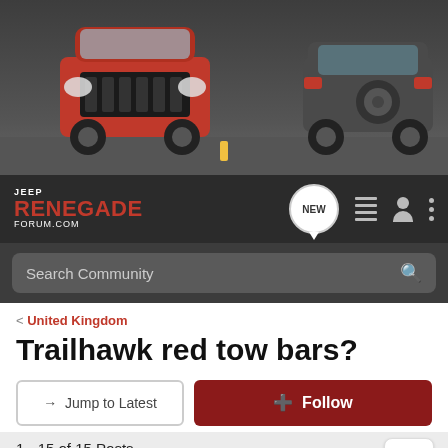[Figure (photo): Hero banner showing two Jeep Renegade SUVs on a city street — one red facing forward on the left, one dark grey facing away on the right.]
JEEP RENEGADE FORUM.COM
Search Community
< United Kingdom
Trailhawk red tow bars?
→ Jump to Latest
+ Follow
1 - 15 of 15 Posts
Adi · Registered
Joined Jul 26, 2015 · 25 Posts